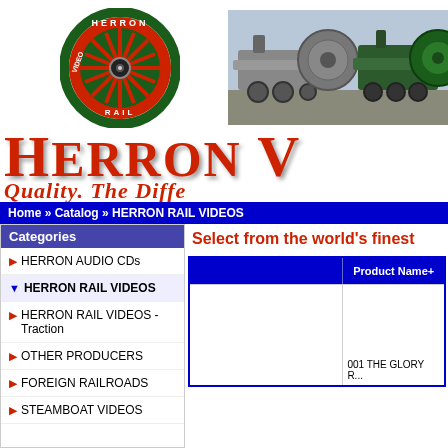[Figure (logo): Herron Rail Video circular logo — green border with red spoked wheel and 'VIDEO RAIL' text]
[Figure (photo): Black and white photo of steam locomotives]
HERRON V...
Quality. The Diffe...
Home » Catalog » HERRON RAIL VIDEOS
Categories
HERRON AUDIO CDs
HERRON RAIL VIDEOS
HERRON RAIL VIDEOS - Traction
OTHER PRODUCERS
FOREIGN RAILROADS
STEAMBOAT VIDEOS
Select from the world's finest...
|  | Product Name+ |
| --- | --- |
|  | 001 THE GLORY R... |